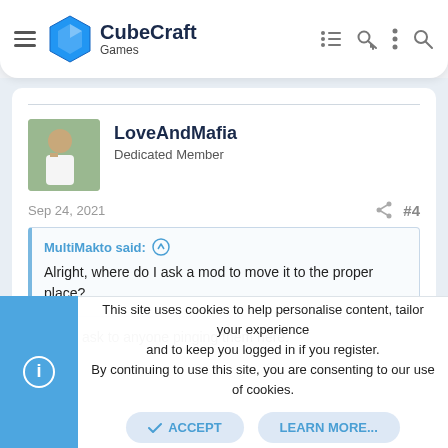CubeCraft Games
LoveAndMafia
Dedicated Member
Sep 24, 2021    #4
MultiMakto said: ↑
Alright, where do I ask a mod to move it to the proper place?
You can ask to anyone pinging them here.
This site uses cookies to help personalise content, tailor your experience and to keep you logged in if you register.
By continuing to use this site, you are consenting to our use of cookies.